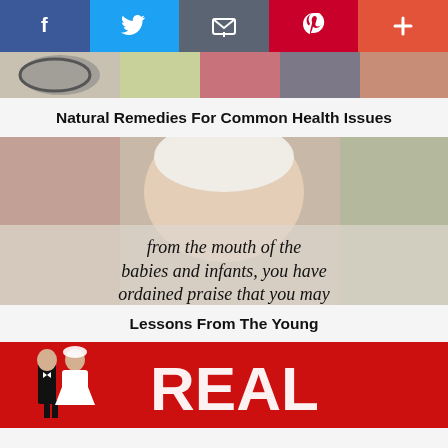[Figure (screenshot): Social sharing bar with Facebook, Twitter, Email, Pinterest, and More (+) buttons]
[Figure (photo): Cropped photo showing food items including fruits and stethoscope]
Natural Remedies For Common Health Issues
[Figure (photo): Baby looking up with overlaid text: 'from the mouth of the babies and infants, you have ordained praise that you may']
Lessons From The Young
[Figure (photo): Red background with wedding cake toppers figurines and large text 'REAL MARRIAGE' (partially visible)]